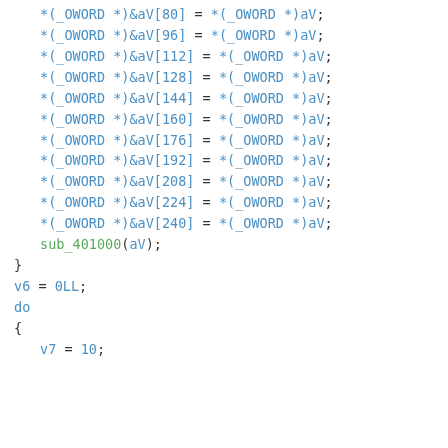*(  _OWORD *)&aV[80] = *(_OWORD *)aV;
*(  _OWORD *)&aV[96] = *(_OWORD *)aV;
*(  _OWORD *)&aV[112] = *(_OWORD *)aV;
*(  _OWORD *)&aV[128] = *(_OWORD *)aV;
*(  _OWORD *)&aV[144] = *(_OWORD *)aV;
*(  _OWORD *)&aV[160] = *(_OWORD *)aV;
*(  _OWORD *)&aV[176] = *(_OWORD *)aV;
*(  _OWORD *)&aV[192] = *(_OWORD *)aV;
*(  _OWORD *)&aV[208] = *(_OWORD *)aV;
*(  _OWORD *)&aV[224] = *(_OWORD *)aV;
*(  _OWORD *)&aV[240] = *(_OWORD *)aV;
sub_401000(aV);
}
v6 = 0LL;
do
{
  v7 = 10;